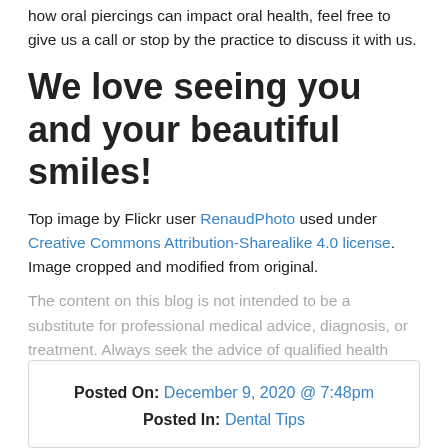how oral piercings can impact oral health, feel free to give us a call or stop by the practice to discuss it with us.
We love seeing you and your beautiful smiles!
Top image by Flickr user RenaudPhoto used under Creative Commons Attribution-Sharealike 4.0 license. Image cropped and modified from original.
The content on this blog is not intended to be a substitute for professional medical advice, diagnosis, or treatment. Always seek the advice of qualified health providers with questions you may have regarding medical conditions.
Posted On: December 9, 2020 @ 7:48pm
Posted In: Dental Tips